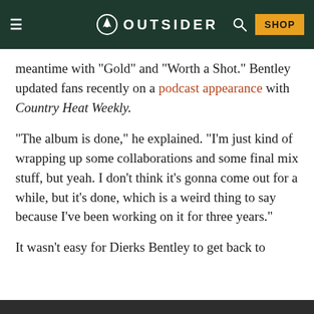OUTSIDER — navigation bar with menu, logo, search, and SHOP button
meantime with “Gold” and “Worth a Shot.” Bentley updated fans recently on a podcast appearance with Country Heat Weekly.
“The album is done,” he explained. “I’m just kind of wrapping up some collaborations and some final mix stuff, but yeah. I don’t think it’s gonna come out for a while, but it’s done, which is a weird thing to say because I’ve been working on it for three years.”
It wasn’t easy for Dierks Bentley to get back to